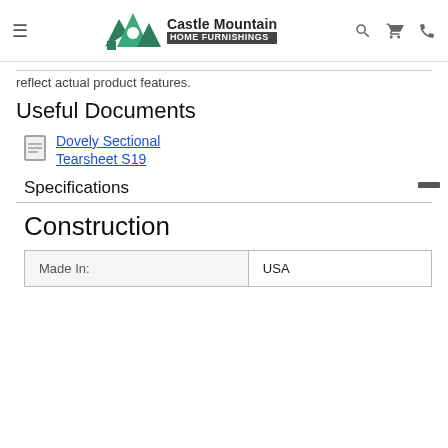Castle Mountain Home Furnishings
reflect actual product features.
Useful Documents
Dovely Sectional Tearsheet S19
Specifications
Construction
| Made In: | USA |
| --- | --- |
| Made In: | USA |